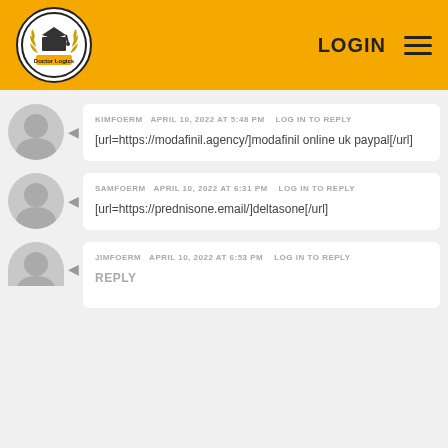Doctor Logics — LOGIN
KIMFOERM   APRIL 10, 2022 AT 5:48 PM   LOG IN TO REPLY
[url=https://modafinil.agency/]modafinil online uk paypal[/url]
SAMFOERM   APRIL 10, 2022 AT 6:31 PM   LOG IN TO REPLY
[url=https://prednisone.email/]deltasone[/url]
JIMFOERM   APRIL 10, 2022 AT 6:53 PM   LOG IN TO REPLY